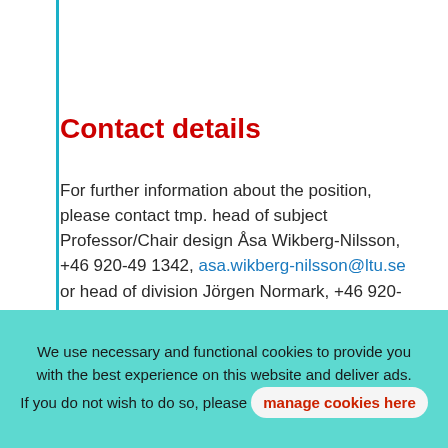Contact details
For further information about the position, please contact tmp. head of subject Professor/Chair design Åsa Wikberg-Nilsson, +46 920-49 1342, asa.wikberg-nilsson@ltu.se or head of division Jörgen Normark, +46 920-49 1480, jorgen.normark@ltu.se
We use necessary and functional cookies to provide you with the best experience on this website and deliver ads. If you do not wish to do so, please manage cookies here